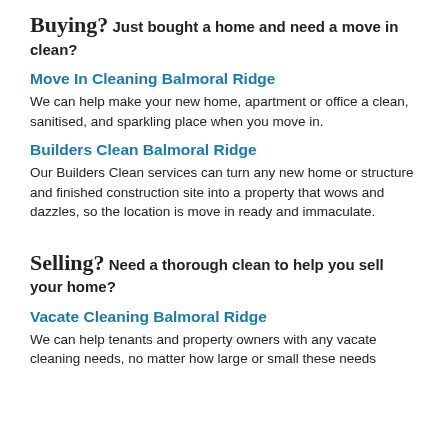Buying? Just bought a home and need a move in clean?
Move In Cleaning Balmoral Ridge
We can help make your new home, apartment or office a clean, sanitised, and sparkling place when you move in.
Builders Clean Balmoral Ridge
Our Builders Clean services can turn any new home or structure and finished construction site into a property that wows and dazzles, so the location is move in ready and immaculate.
Selling? Need a thorough clean to help you sell your home?
Vacate Cleaning Balmoral Ridge
We can help tenants and property owners with any vacate cleaning needs, no matter how large or small these needs